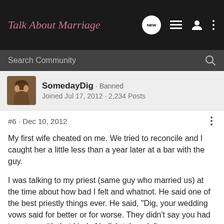Talk About Marriage
Search Community
SomedayDig · Banned
Joined Jul 17, 2012 · 2,234 Posts
#6 · Dec 10, 2012
My first wife cheated on me. We tried to reconcile and I caught her a little less than a year later at a bar with the guy.

I was talking to my priest (same guy who married us) at the time about how bad I felt and whatnot. He said one of the best priestly things ever. He said, "Dig, your wedding vows said for better or for worse. They didn't say you had to put up with that kind of bullsh-t though."

Point taken. I divorced her.